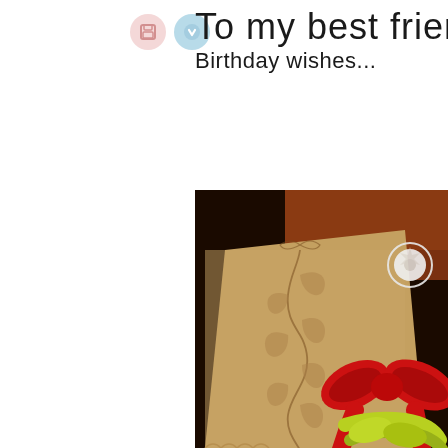To my best friend
Birthday wishes...
[Figure (photo): Close-up photo of a handmade birthday card with kraft paper, embossed decorative flourish design, and red and lime green grosgrain ribbon bows, with a white decorative accent, on a dark background.]